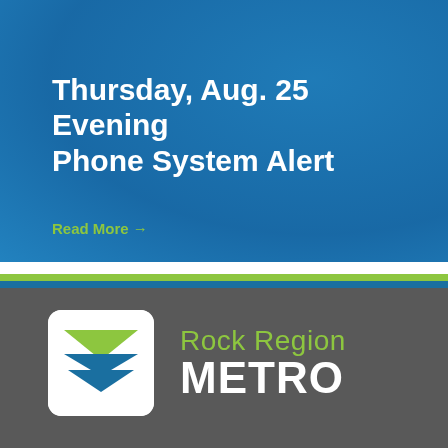[Figure (infographic): Blue background banner section with subtle texture/gradient for Rock Region Metro alert announcement]
Thursday, Aug. 25 Evening Phone System Alert
Read More →
[Figure (logo): Rock Region Metro logo: white rounded-corner square containing a chevron/envelope icon with green upper triangle and blue lower chevrons]
Rock Region METRO